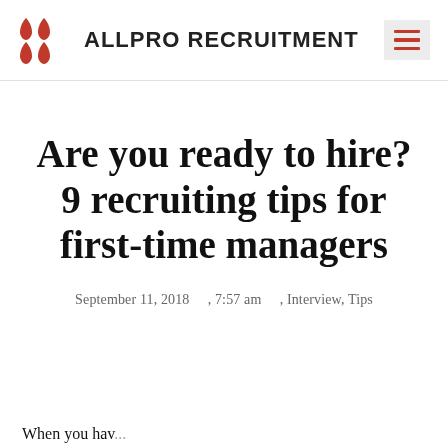ALLPRO RECRUITMENT
Are you ready to hire? 9 recruiting tips for first-time managers
September 11, 2018     , 7:57 am     , Interview, Tips
When you hav...